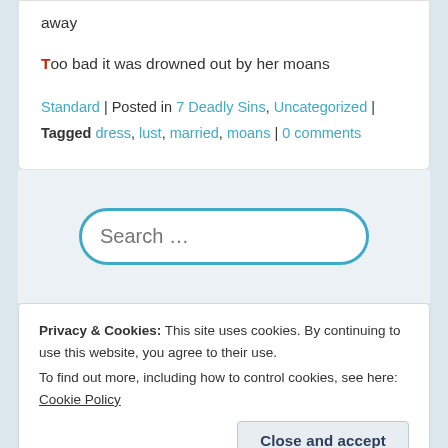away
Too bad it was drowned out by her moans
Standard | Posted in 7 Deadly Sins, Uncategorized | Tagged dress, lust, married, moans | 0 comments
[Figure (screenshot): Search input box with placeholder text 'Search ...' styled with blue rounded border]
Privacy & Cookies: This site uses cookies. By continuing to use this website, you agree to their use. To find out more, including how to control cookies, see here: Cookie Policy
Close and accept